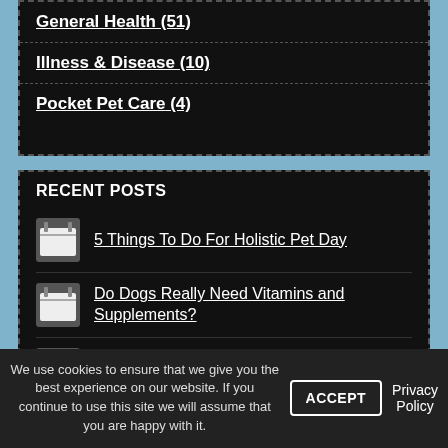General Health (51)
Illness & Disease (10)
Pocket Pet Care (4)
RECENT POSTS
5 Things To Do For Holistic Pet Day
Do Dogs Really Need Vitamins and Supplements?
July 31st Is National Mutt Day
Pet Names
We use cookies to ensure that we give you the best experience on our website. If you continue to use this site we will assume that you are happy with it.
ACCEPT
Privacy Policy